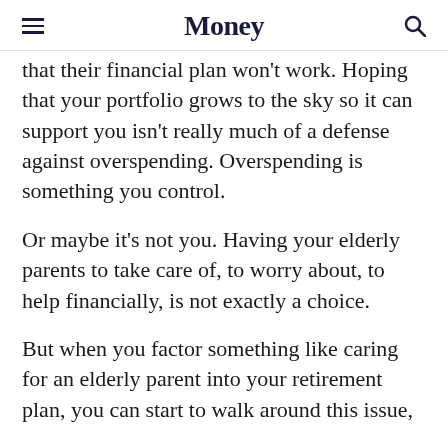Money
that their financial plan won’t work. Hoping that your portfolio grows to the sky so it can support you isn’t really much of a defense against overspending. Overspending is something you control.
Or maybe it’s not you. Having your elderly parents to take care of, to worry about, to help financially, is not exactly a choice.
But when you factor something like caring for an elderly parent into your retirement plan, you can start to walk around this issue,